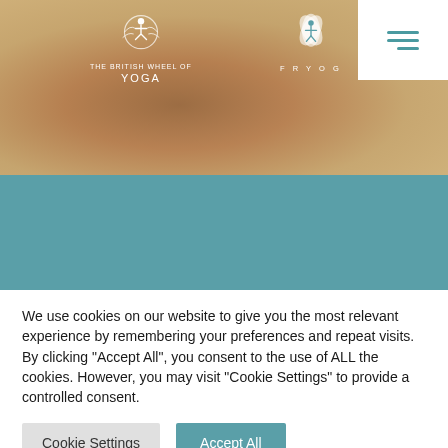[Figure (photo): Hero image with warm brown/tan background showing yoga mats or similar objects, with The British Wheel of Yoga logo and FR YOG logo overlaid, and a hamburger menu icon in a white box top right]
[Figure (logo): Kalyani text in white cursive/script font on teal background]
We use cookies on our website to give you the most relevant experience by remembering your preferences and repeat visits. By clicking "Accept All", you consent to the use of ALL the cookies. However, you may visit "Cookie Settings" to provide a controlled consent.
Cookie Settings
Accept All